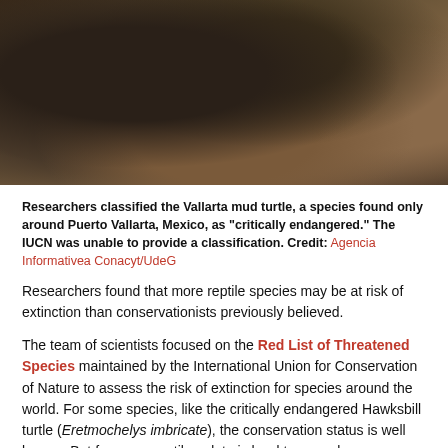[Figure (photo): Close-up photograph of a Vallarta mud turtle on rocky/sandy ground. The turtle's head and shell are visible, with brown and dark coloring. Rocky debris surrounds it.]
Researchers classified the Vallarta mud turtle, a species found only around Puerto Vallarta, Mexico, as "critically endangered." The IUCN was unable to provide a classification. Credit: Agencia Informativea Conacyt/UdeG
Researchers found that more reptile species may be at risk of extinction than conservationists previously believed.
The team of scientists focused on the Red List of Threatened Species maintained by the International Union for Conservation of Nature to assess the risk of extinction for species around the world. For some species, like the critically endangered Hawksbill turtle (Eretmochelys imbricate), the conservation status is well known. But for many reptiles, data is hard to come by.